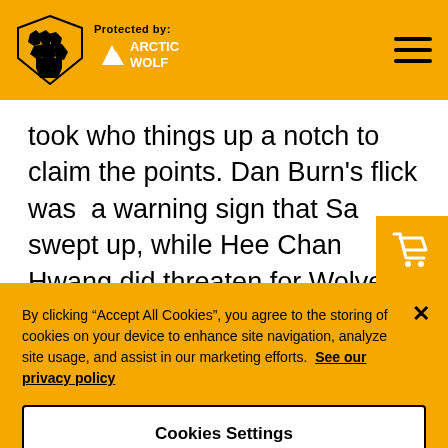Protected by: Arctic Wolf
took who things up a notch to claim the points. Dan Burn's flick was  a warning sign that Sa swept up, while Hee Chan Hwang did threaten for Wolves to no avail at the other end.
Allan Saint-Maximin had an even better chance soon after blazing over Guimaraes' cross, but the old gold didn't reac
By clicking “Accept All Cookies”, you agree to the storing of cookies on your device to enhance site navigation, analyze site usage, and assist in our marketing efforts. See our privacy policy
Cookies Settings
Reject All
Accept All Cookies